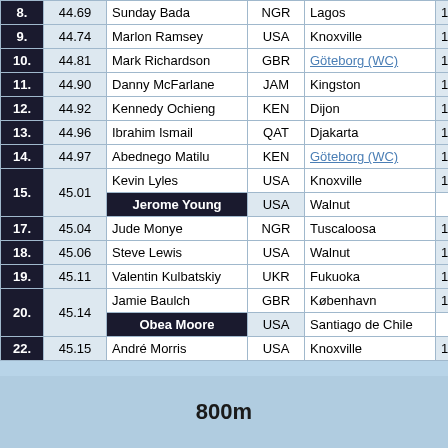| # | Mark | Athlete | Nat | Venue | Date |
| --- | --- | --- | --- | --- | --- |
| 8. | 44.69 | Sunday Bada | NGR | Lagos | 1995-06- |
| 9. | 44.74 | Marlon Ramsey | USA | Knoxville | 1995-06- |
| 10. | 44.81 | Mark Richardson | GBR | Göteborg (WC) | 1995-08- |
| 11. | 44.90 | Danny McFarlane | JAM | Kingston | 1995-06- |
| 12. | 44.92 | Kennedy Ochieng | KEN | Dijon | 1995-05- |
| 13. | 44.96 | Ibrahim Ismail | QAT | Djakarta | 1995-09- |
| 14. | 44.97 | Abednego Matilu | KEN | Göteborg (WC) | 1995-08- |
| 15. | 45.01 | Kevin Lyles | USA | Knoxville | 1995-04- |
| 15. | 45.01 | Jerome Young | USA | Walnut | 1995-06- |
| 17. | 45.04 | Jude Monye | NGR | Tuscaloosa | 1995-05- |
| 18. | 45.06 | Steve Lewis | USA | Walnut | 1995-04- |
| 19. | 45.11 | Valentin Kulbatskiy | UKR | Fukuoka | 1995-09- |
| 20. | 45.14 | Jamie Baulch | GBR | København | 1995-08- |
| 20. | 45.14 | Obea Moore | USA | Santiago de Chile | 1995-09- |
| 22. | 45.15 | André Morris | USA | Knoxville | 1995-06- |
800m